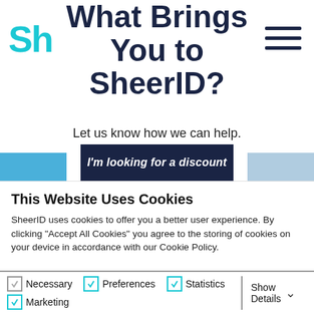[Figure (logo): SheerID logo — cyan letters 'Sh' visible on left side]
What Brings You to SheerID?
Let us know how we can help.
I'm looking for a discount
This Website Uses Cookies
SheerID uses cookies to offer you a better user experience. By clicking "Accept All Cookies" you agree to the storing of cookies on your device in accordance with our Cookie Policy.
Accept All Cookies
Allow Selection
Use Necessary Cookies Only
Necessary  Preferences  Statistics  Marketing  Show Details